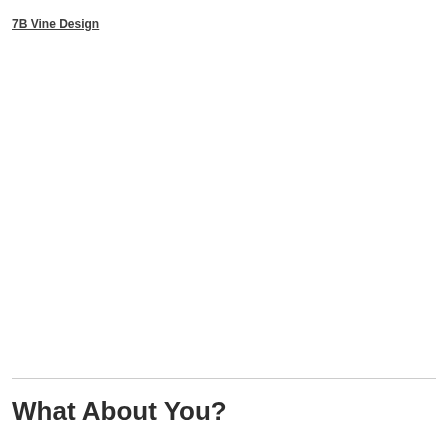7B Vine Design
What About You?